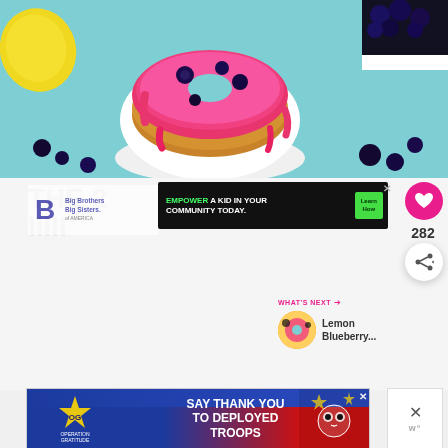[Figure (photo): A pink/magenta frosted donut with blueberries on a white plate stand, with a lemon and bowl of blueberries visible, on a teal background.]
[Figure (logo): Big Brothers Big Sisters of America logo with blue icon and text]
[Figure (infographic): Advertisement banner: EMPOWER A KID IN YOUR COMMUNITY TODAY. with Learn How button. Black background with green accent.]
[Figure (infographic): Heart/like button showing count 282 and share button]
WHAT'S NEXT → Lemon Blueberry...
[Figure (infographic): Operation Gratitude advertisement: SAY THANK YOU TO DEPLOYED TROOPS with patriotic imagery]